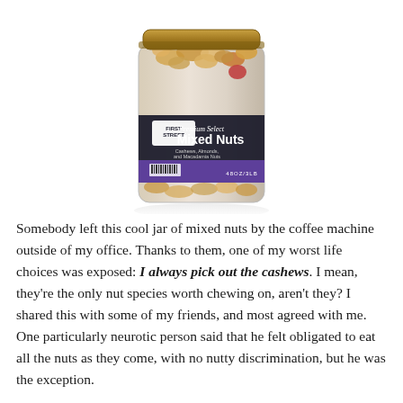[Figure (photo): A jar of First Street Premium Select Mixed Nuts (Cashews, Almonds, and Macadamia Nuts) with a gold lid, transparent container showing nuts inside, and a dark label with purple accent band.]
Somebody left this cool jar of mixed nuts by the coffee machine outside of my office. Thanks to them, one of my worst life choices was exposed: I always pick out the cashews. I mean, they're the only nut species worth chewing on, aren't they? I shared this with some of my friends, and most agreed with me. One particularly neurotic person said that he felt obligated to eat all the nuts as they come, with no nutty discrimination, but he was the exception.
I checked the label, and it listed the nut species in the